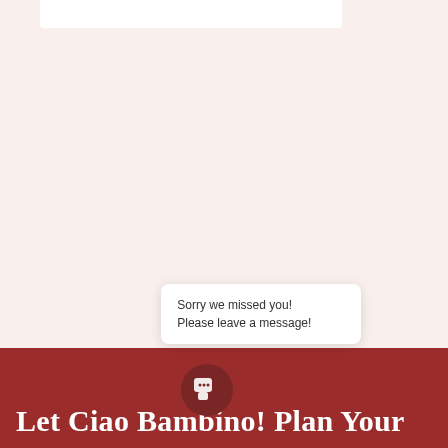[Figure (screenshot): Top white bar element, partial view of a web page header/search bar area]
1  2  >
[Figure (screenshot): Chat bubble overlay with text 'Sorry we missed you! Please leave a message!' and a circular chat icon button]
Let Ciao Bambino! Plan Your